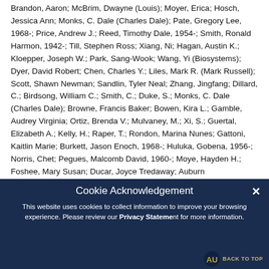Brandon, Aaron; McBrim, Dwayne (Louis); Moyer, Erica; Hosch, Jessica Ann; Monks, C. Dale (Charles Dale); Pate, Gregory Lee, 1968-; Price, Andrew J.; Reed, Timothy Dale, 1954-; Smith, Ronald Harmon, 1942-; Till, Stephen Ross; Xiang, Ni; Hagan, Austin K.; Kloepper, Joseph W.; Park, Sang-Wook; Wang, Yi (Biosystems); Dyer, David Robert; Chen, Charles Y.; Liles, Mark R. (Mark Russell); Scott, Shawn Newman; Sandlin, Tyler Neal; Zhang, Jingfang; Dillard, C.; Birdsong, William C.; Smith, C.; Duke, S.; Monks, C. Dale (Charles Dale); Browne, Francis Baker; Bowen, Kira L.; Gamble, Audrey Virginia; Ortiz, Brenda V.; Mulvaney, M.; Xi, S.; Guertal, Elizabeth A.; Kelly, H.; Raper, T.; Rondon, Marina Nunes; Gattoni, Kaitlin Marie; Burkett, Jason Enoch, 1968-; Huluka, Gobena, 1956-; Norris, Chet; Pegues, Malcomb David, 1960-; Moye, Hayden H.; Foshee, Mary Susan; Ducar, Joyce Tredaway; Auburn
[Figure (screenshot): Cookie acknowledgement overlay with dark navy background. Contains title 'Cookie Acknowledgement', body text about cookies and privacy, a close X button, Auburn University logo, and 'BACK TO TOP' link.]